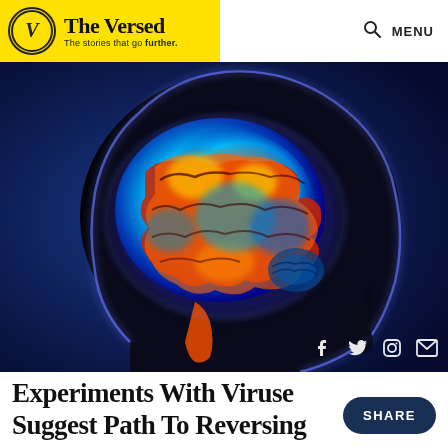The Versed – The stories that go further.
[Figure (photo): Brain scan / PET scan image showing colorful heat-map of human brain in side profile silhouette against dark blue background. Brain shows red, orange, yellow, cyan and blue activity colors.]
Experiments With Viruses Suggest Path To Reversing